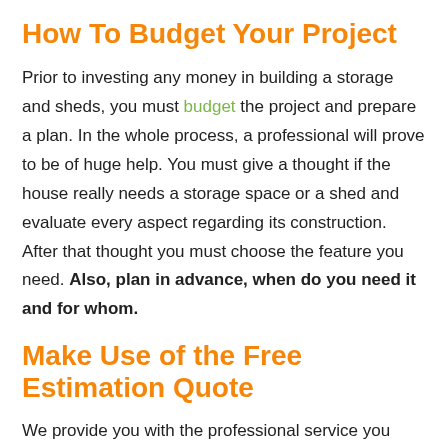How To Budget Your Project
Prior to investing any money in building a storage and sheds, you must budget the project and prepare a plan. In the whole process, a professional will prove to be of huge help. You must give a thought if the house really needs a storage space or a shed and evaluate every aspect regarding its construction. After that thought you must choose the feature you need. Also, plan in advance, when do you need it and for whom.
Make Use of the Free Estimation Quote
We provide you with the professional service you need and we do not charge you anything for the quotations that are estimated according to your construction. These estimations are done by professional trusted by us. We evaluate each and every possibility available to you before estimating anything.